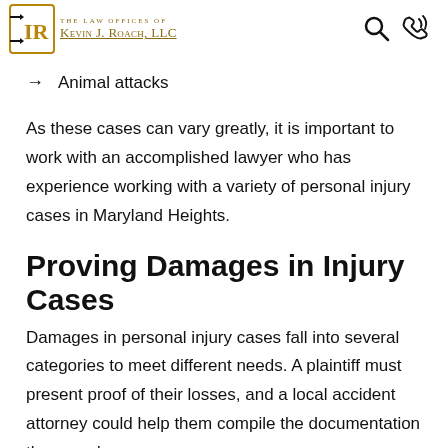The Law Offices of Kevin J. Roach, LLC
Defective products
Harmful medications
Animal attacks
As these cases can vary greatly, it is important to work with an accomplished lawyer who has experience working with a variety of personal injury cases in Maryland Heights.
Proving Damages in Injury Cases
Damages in personal injury cases fall into several categories to meet different needs. A plaintiff must present proof of their losses, and a local accident attorney could help them compile the documentation they need.